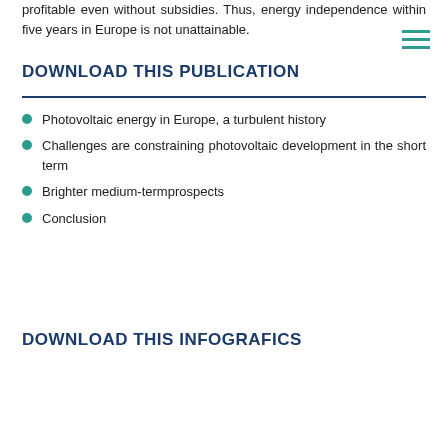profitable even without subsidies. Thus, energy independence within five years in Europe is not unattainable.
DOWNLOAD THIS PUBLICATION
Photovoltaic energy in Europe, a turbulent history
Challenges are constraining photovoltaic development in the short term
Brighter medium-termprospects
Conclusion
DOWNLOAD THIS INFOGRAFICS